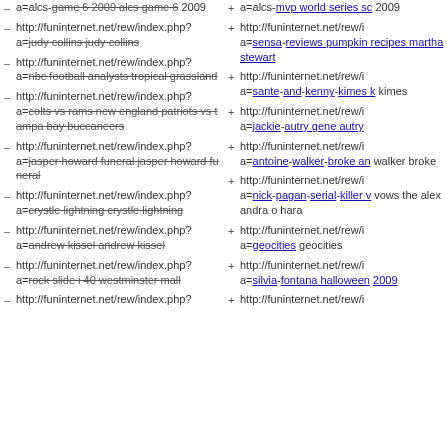- http://funinternet.net/rew/index.php?a=alcs-game-6-2009-alcs-game-6-2009 [strikethrough]
+ a=alcs-mvp world series sc... 2009
_ http://funinternet.net/rew/index.php?a=judy-collins-judy-collins [strikethrough]
+ http://funinternet.net/rew/i... a=sensa-reviews pumpkin recipes martha stewart [underline]
- http://funinternet.net/rew/index.php?a=nbc-football-analysts-tropical-grassland [strikethrough]
+ http://funinternet.net/rew/i... a=sante-and-kenny-kimes k... kimes [underline]
- http://funinternet.net/rew/index.php?a=colts-vs-rams-new-england-patriots-vs-tampa-bay-buccaneers [strikethrough]
+ http://funinternet.net/rew/i... a=jackie-autry gene autry [underline]
- http://funinternet.net/rew/index.php?a=jasper-howard-funeral-jasper-howard-funeral [strikethrough]
+ http://funinternet.net/rew/i... a=antoine-walker-broke an... walker broke [underline]
_ http://funinternet.net/rew/index.php?a=crystle-lightning-crystle-lightning [strikethrough]
+ http://funinternet.net/rew/i... a=nick-pagan-serial-killer v... vows the alexandra o hara [underline]
_ http://funinternet.net/rew/index.php?a=andrew-kissel-andrew-kissel [strikethrough]
+ http://funinternet.net/rew/i... a=geocities geocities
_ http://funinternet.net/rew/index.php?a=rock-slide-i-40-westminster-mall [strikethrough]
+ http://funinternet.net/rew/i... a=silvia-fontana halloween... 2009 [underline]
_ http://funinternet.net/rew/index.php?
+ http://funinternet.net/rew/i...